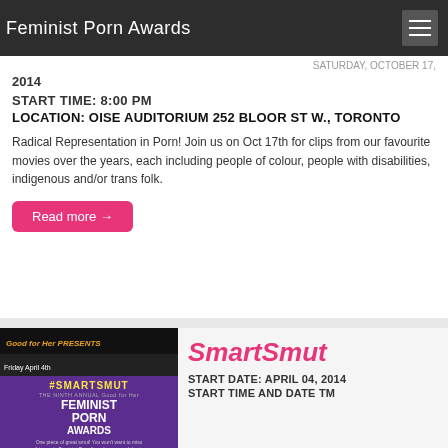Feminist Porn Awards
START DATE: SATURDAY, 2014
START TIME: 8:00 PM
LOCATION: OISE AUDITORIUM 252 BLOOR ST W., TORONTO
Radical Representation in Porn! Join us on Oct 17th for clips from our favourite movies over the years, each including people of colour, people with disabilities, indigenous and/or trans folk.
Read more →
[Figure (photo): Good for Her Presents Friday April 4th #SMARTSMUT The Ninth Annual Good for Her Feminist Porn Awards promotional poster]
SmartSmut
START DATE: APRIL 04, 2014
START TIME AND DATE TM